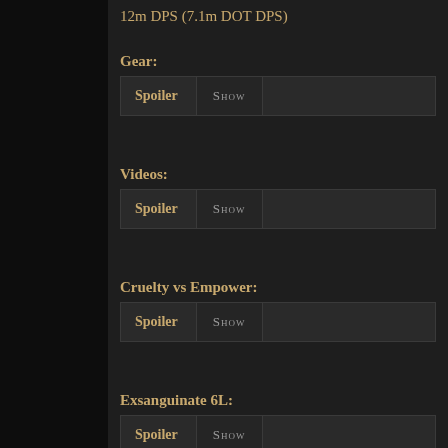12m DPS (7.1m DOT DPS)
Gear:
Spoiler  SHOW
Videos:
Spoiler  SHOW
Cruelty vs Empower:
Spoiler  SHOW
Exsanguinate 6L:
Spoiler  SHOW
Pros/Cons: